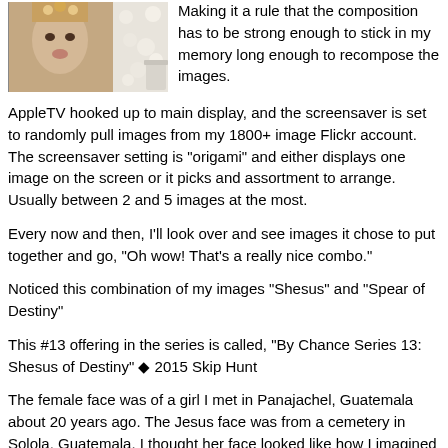[Figure (photo): Two photographs side by side: left shows a female face with decorative elements, right shows an abstract white texture resembling popcorn or flowers]
Making it a rule that the composition has to be strong enough to stick in my memory long enough to recompose the images.
AppleTV hooked up to main display, and the screensaver is set to randomly pull images from my 1800+ image Flickr account. The screensaver setting is "origami" and either displays one image on the screen or it picks and assortment to arrange. Usually between 2 and 5 images at the most.
Every now and then, I'll look over and see images it chose to put together and go, "Oh wow! That's a really nice combo."
Noticed this combination of my images "Shesus" and "Spear of Destiny"
This #13 offering in the series is called, "By Chance Series 13: Shesus of Destiny" ◆ 2015 Skip Hunt
The female face was of a girl I met in Panajachel, Guatemala about 20 years ago. The Jesus face was from a cemetery in Solola, Guatemala. I thought her face looked like how I imagined Gaia looked in my mind's eye. Combined the male and female godheads into one to mess around with gender perception.
The abstract wall texture on the right was made on the street in Cape Town, South Africa several years ago. I think I called it "Spear of Destiny" because the dripping cut at the bottom right reminded